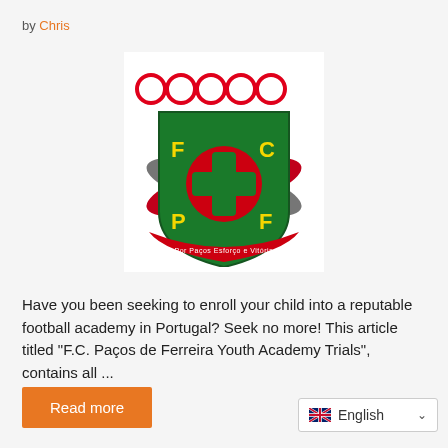by Chris
[Figure (logo): F.C. Paços de Ferreira football club crest/logo: green shield with red cross, yellow letters F C P F, five red rings on top, red and black ribbon, text 'Por Paços Esforço e Vitória']
Have you been seeking to enroll your child into a reputable football academy in Portugal? Seek no more! This article titled "F.C. Paços de Ferreira Youth Academy Trials", contains all ...
Read more
English